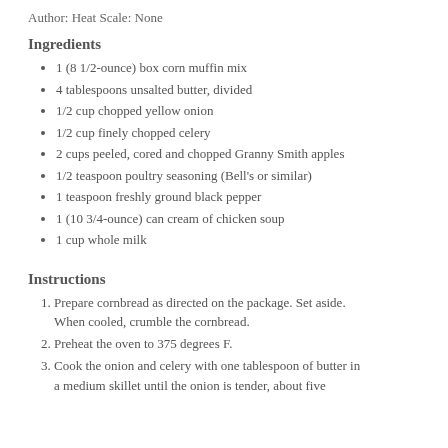Author: Heat Scale: None
Ingredients
1 (8 1/2-ounce) box corn muffin mix
4 tablespoons unsalted butter, divided
1/2 cup chopped yellow onion
1/2 cup finely chopped celery
2 cups peeled, cored and chopped Granny Smith apples
1/2 teaspoon poultry seasoning (Bell's or similar)
1 teaspoon freshly ground black pepper
1 (10 3/4-ounce) can cream of chicken soup
1 cup whole milk
Instructions
Prepare cornbread as directed on the package. Set aside. When cooled, crumble the cornbread.
Preheat the oven to 375 degrees F.
Cook the onion and celery with one tablespoon of butter in a medium skillet until the onion is tender, about five